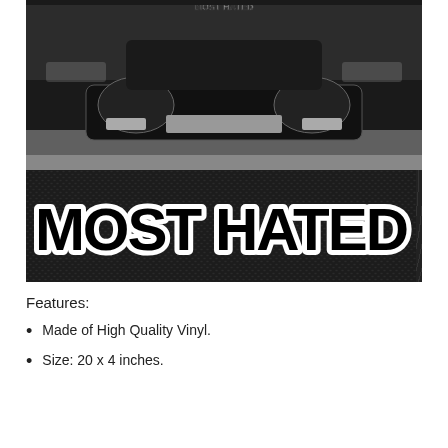[Figure (photo): Front view of a black modified/stance car (appears to be a Nissan Silvia/240SX) in black and white photo, with a 'MOST HATED' windshield banner. Below the car photo is a sticker on a carbon fiber background reading 'MOST HATED' in graffiti-style white lettering with black outline.]
Features:
Made of High Quality Vinyl.
Size: 20 x 4 inches.